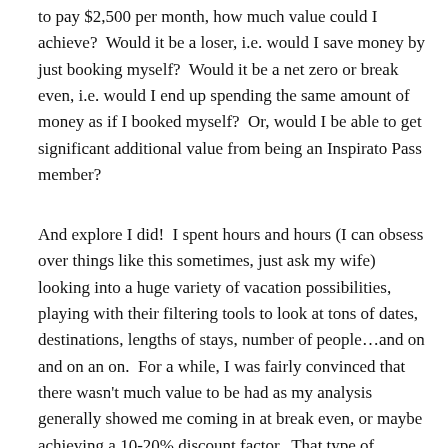to pay $2,500 per month, how much value could I achieve?  Would it be a loser, i.e. would I save money by just booking myself?  Would it be a net zero or break even, i.e. would I end up spending the same amount of money as if I booked myself?  Or, would I be able to get significant additional value from being an Inspirato Pass member?
And explore I did!  I spent hours and hours (I can obsess over things like this sometimes, just ask my wife) looking into a huge variety of vacation possibilities, playing with their filtering tools to look at tons of dates, destinations, lengths of stays, number of people…and on and on an on.  For a while, I was fairly convinced that there wasn't much value to be had as my analysis generally showed me coming in at break even, or maybe achieving a 10-20% discount factor.  That type of discount would not be worth the limitations that come with available dates, destinations, etc.  Now remember, I was a new Inspirato